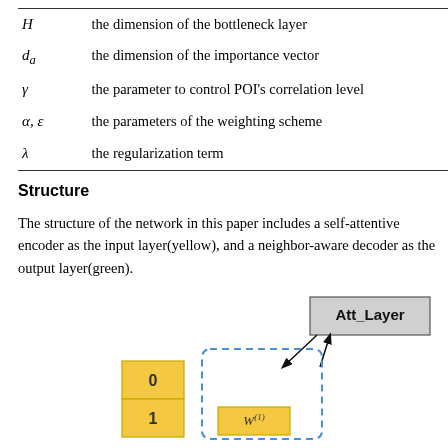| Symbol | Description |
| --- | --- |
| H | the dimension of the bottleneck layer |
| d_a | the dimension of the importance vector |
| γ | the parameter to control POI's correlation level |
| α, ε | the parameters of the weighting scheme |
| λ | the regularization term |
Structure
The structure of the network in this paper includes a self-attentive encoder as the input layer(yellow), and a neighbor-aware decoder as the output layer(green).
[Figure (schematic): Partial network architecture diagram showing yellow blocks labeled '0' and '1', a dashed blue box, a weight matrix block labeled W^(1), and a gray box labeled 'Att_Layer' with arrows connecting components.]